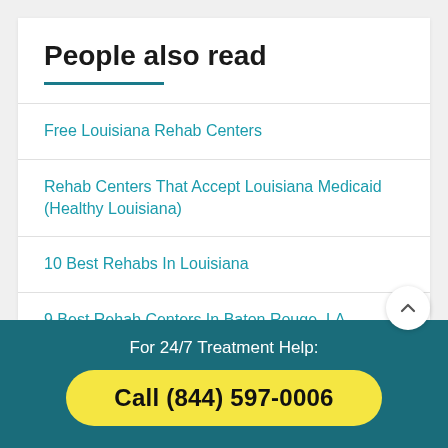People also read
Free Louisiana Rehab Centers
Rehab Centers That Accept Louisiana Medicaid (Healthy Louisiana)
10 Best Rehabs In Louisiana
9 Best Rehab Centers In Baton Rouge, LA
For 24/7 Treatment Help:
Call (844) 597-0006